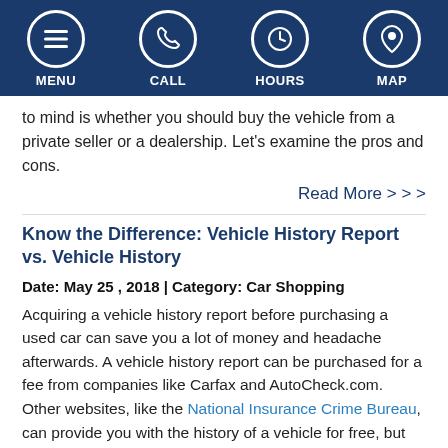MENU | CALL | HOURS | MAP
to mind is whether you should buy the vehicle from a private seller or a dealership. Let's examine the pros and cons.
Read More > > >
Know the Difference: Vehicle History Report vs. Vehicle History
Date: May 25 , 2018 | Category: Car Shopping
Acquiring a vehicle history report before purchasing a used car can save you a lot of money and headache afterwards. A vehicle history report can be purchased for a fee from companies like Carfax and AutoCheck.com. Other websites, like the National Insurance Crime Bureau, can provide you with the history of a vehicle for free, but they will not provide you with as detailed information.